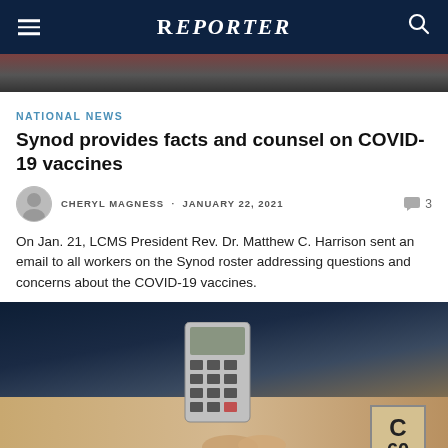REPORTER
[Figure (photo): Top portion of a photo showing a person, partially cropped]
NATIONAL NEWS
Synod provides facts and counsel on COVID-19 vaccines
CHERYL MAGNESS · JANUARY 22, 2021
On Jan. 21, LCMS President Rev. Dr. Matthew C. Harrison sent an email to all workers on the Synod roster addressing questions and concerns about the COVID-19 vaccines.
[Figure (photo): Close-up photo of hands holding a small electronic device (calculator or voting device) near a sign marked C 60, at what appears to be a Synod event]